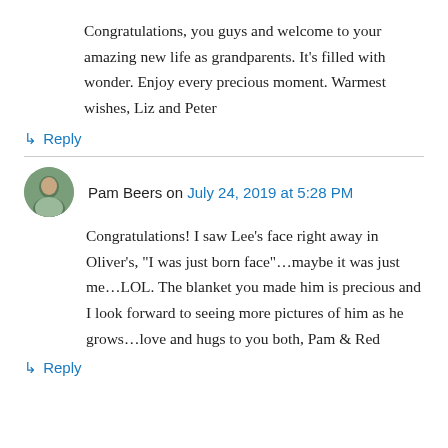Congratulations, you guys and welcome to your amazing new life as grandparents. It’s filled with wonder. Enjoy every precious moment. Warmest wishes, Liz and Peter
↳ Reply
Pam Beers on July 24, 2019 at 5:28 PM
Congratulations! I saw Lee’s face right away in Oliver’s, “I was just born face”…maybe it was just me…LOL. The blanket you made him is precious and I look forward to seeing more pictures of him as he grows…love and hugs to you both, Pam & Red
↳ Reply